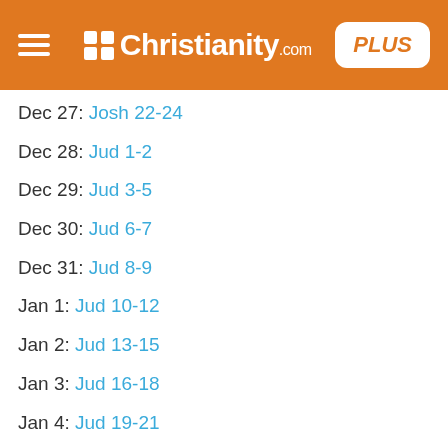Christianity.com PLUS
Dec 27: Josh 22-24
Dec 28: Jud 1-2
Dec 29: Jud 3-5
Dec 30: Jud 6-7
Dec 31: Jud 8-9
Jan 1: Jud 10-12
Jan 2: Jud 13-15
Jan 3: Jud 16-18
Jan 4: Jud 19-21
Jan 5: Ruth
Jan 6: 1Sam 1-3
Jan 7: 1Sam 4-8
Jan 8: 1Sam 9-12